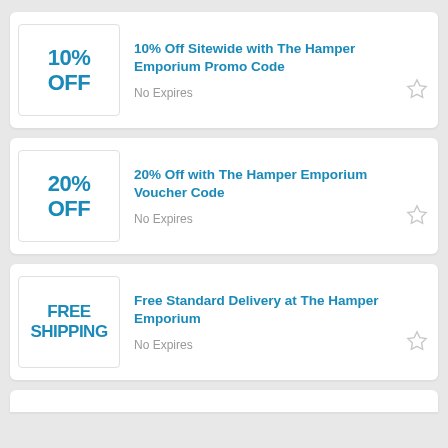10% OFF
10% Off Sitewide with The Hamper Emporium Promo Code
No Expires
20% OFF
20% Off with The Hamper Emporium Voucher Code
No Expires
FREE SHIPPING
Free Standard Delivery at The Hamper Emporium
No Expires